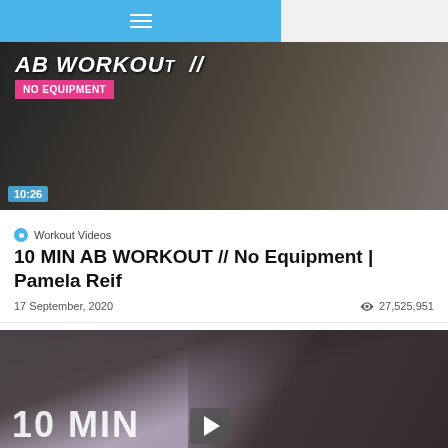Navigation menu bar
[Figure (photo): AB WORKOUT thumbnail image showing a woman doing ab exercises on a yoga mat. Text overlay: 'AB WORKOUT // No Equipment'. Duration badge: 10:26.]
Workout Videos
10 MIN AB WORKOUT // No Equipment | Pamela Reif
17 September, 2020   27,525,951
[Figure (photo): Second workout video thumbnail showing a woman doing crunches on a mat. Text overlay: '10 MIN' with a play button icon.]